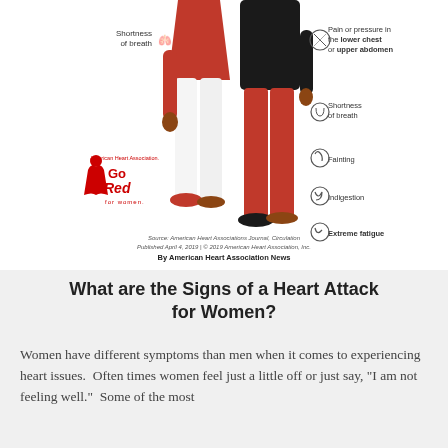[Figure (infographic): American Heart Association Go Red for Women infographic showing signs of a heart attack for women. Two illustrated figures (one in red pants, one in white pants) with labeled symptoms: Shortness of breath (left side), Pain or pressure in the lower chest or upper abdomen, Shortness of breath, Fainting, Indigestion, Extreme fatigue (right side). Go Red for Women logo at bottom left. Source line and byline at bottom.]
Source: American Heart Associations Journal, Circulation
Published April 4, 2019 | © 2019 American Heart Association, Inc.
By American Heart Association News
What are the Signs of a Heart Attack for Women?
Women have different symptoms than men when it comes to experiencing heart issues.  Often times women feel just a little off or just say, "I am not feeling well."  Some of the most